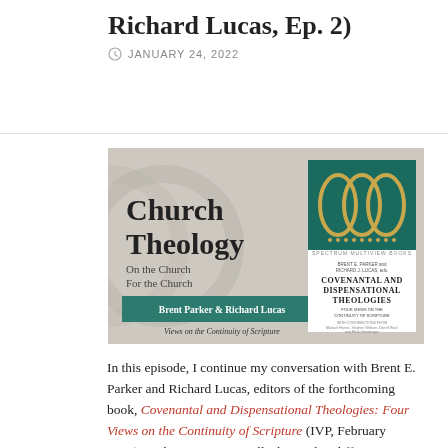Richard Lucas, Ep. 2)
JANUARY 24, 2022
[Figure (photo): Podcast banner image for Church Theology episode featuring the book 'Covenantal and Dispensational Theologies: Four Views on the Continuity of Scripture' by Brent Parker and Richard Lucas, shown alongside the book cover with text 'Church Theology On the Church For the Church' and 'Views on the Continuity of Scripture']
In this episode, I continue my conversation with Brent E. Parker and Richard Lucas, editors of the forthcoming book, Covenantal and Dispensational Theologies: Four Views on the Continuity of Scripture (IVP, February 2022). In this session, we talk about what different commitments or perspectives ultimately underlie